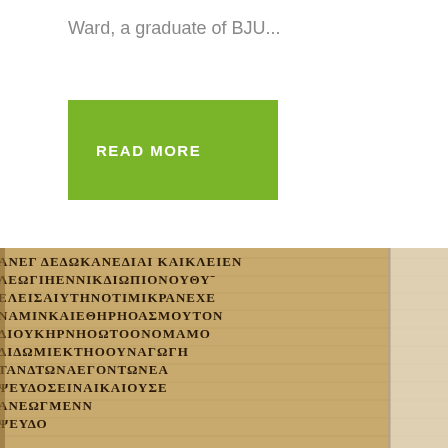Ward, a graduate of BJU...
READ MORE
[Figure (photo): Close-up photograph of an ancient Greek manuscript written on papyrus or parchment, showing multiple lines of Greek uncial text including letters and words in dark ink on a brown/tan background. The text is partially cut off on both sides.]